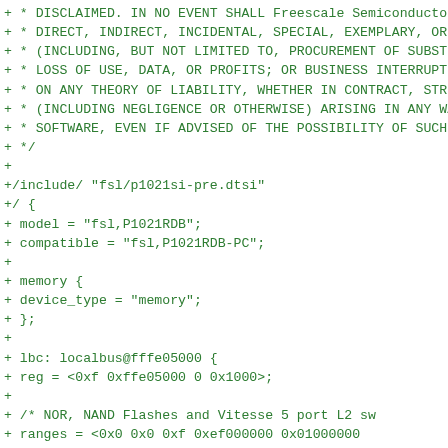+ * DISCLAIMED. IN NO EVENT SHALL Freescale Semiconductor BE
+ * DIRECT, INDIRECT, INCIDENTAL, SPECIAL, EXEMPLARY, OR CONS
+ * (INCLUDING, BUT NOT LIMITED TO, PROCUREMENT OF SUBSTITUTE
+ * LOSS OF USE, DATA, OR PROFITS; OR BUSINESS INTERRUPTION)
+ * ON ANY THEORY OF LIABILITY, WHETHER IN CONTRACT, STRICT L
+ * (INCLUDING NEGLIGENCE OR OTHERWISE) ARISING IN ANY WAY OU
+ * SOFTWARE, EVEN IF ADVISED OF THE POSSIBILITY OF SUCH DAMA
+ */
+
+/include/ "fsl/p1021si-pre.dtsi"
+/ {
+       model = "fsl,P1021RDB";
+       compatible = "fsl,P1021RDB-PC";
+
+       memory {
+               device_type = "memory";
+       };
+
+       lbc: localbus@fffe05000 {
+               reg = <0xf 0xffe05000 0 0x1000>;
+
+               /* NOR, NAND Flashes and Vitesse 5 port L2 sw
+               ranges = <0x0 0x0 0xf 0xef000000 0x01000000
+                         0x1 0x0 0xf 0xff800000 0x00040000
+                         0x2 0x0 0xf 0xffb00000 0x00020000>;